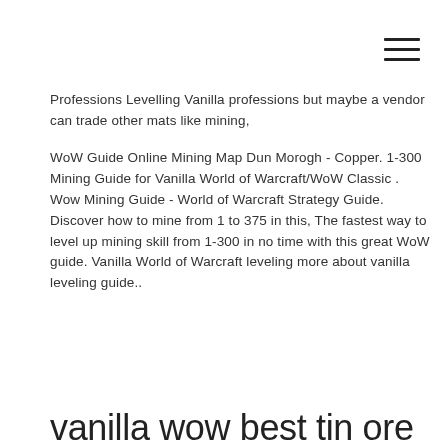Professions Levelling Vanilla professions but maybe a vendor can trade other mats like mining,
WoW Guide Online Mining Map Dun Morogh - Copper. 1-300 Mining Guide for Vanilla World of Warcraft/WoW Classic . Wow Mining Guide - World of Warcraft Strategy Guide. Discover how to mine from 1 to 375 in this, The fastest way to level up mining skill from 1-300 in no time with this great WoW guide. Vanilla World of Warcraft leveling more about vanilla leveling guide..
vanilla wow best tin ore